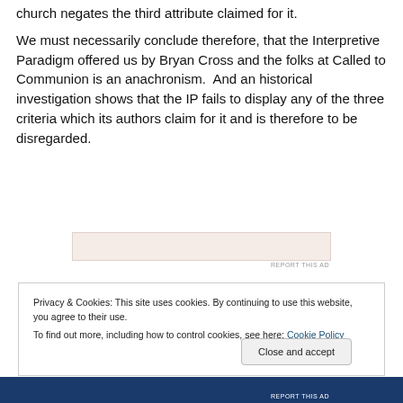church negates the third attribute claimed for it.
We must necessarily conclude therefore, that the Interpretive Paradigm offered us by Bryan Cross and the folks at Called to Communion is an anachronism. And an historical investigation shows that the IP fails to display any of the three criteria which its authors claim for it and is therefore to be disregarded.
[Figure (other): Advertisement banner area with light pinkish background]
REPORT THIS AD
Privacy & Cookies: This site uses cookies. By continuing to use this website, you agree to their use.
To find out more, including how to control cookies, see here: Cookie Policy
Close and accept